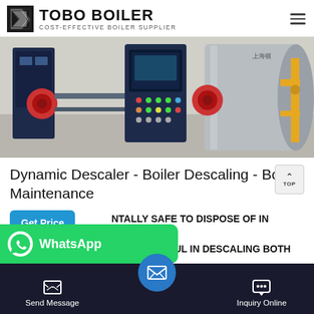TOBO BOILER - COST-EFFECTIVE BOILER SUPPLIER
[Figure (photo): Industrial boiler room showing two large horizontal cylindrical steam boilers with red burner heads, control panel in center, piping and connections visible.]
Dynamic Descaler - Boiler Descaling - Boiler Maintenance
NTALLY SAFE TO DISPOSE OF IN DOMESTIC S SUCCESSFUL IN DESCALING BOTH MODEL, MINIATURE AND FULL SIZE ENGINE BOILERS. Dynamic Descaler is a liquid descaler that rapidly dissolves a...
Send Message | Inquiry Online